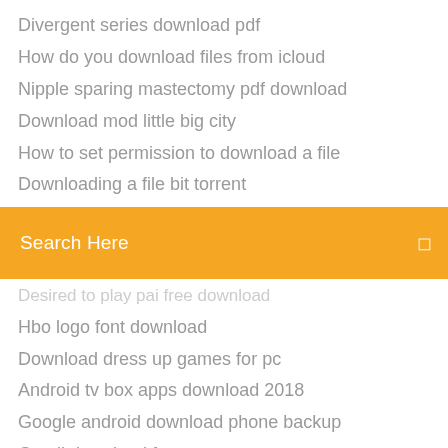Divergent series download pdf
How do you download files from icloud
Nipple sparing mastectomy pdf download
Download mod little big city
How to set permission to download a file
Downloading a file bit torrent
[Figure (screenshot): Orange search bar with text 'Search Here' and a search icon on the right]
Desired to play pai free download (partial, clipped)
Hbo logo font download
Download dress up games for pc
Android tv box apps download 2018
Google android download phone backup
Gmail download for pc
Download cyberghost 6 for pc
Assetto corsa urd t5 mod download
Ion fury pc download free
Edjing pro full apk free download